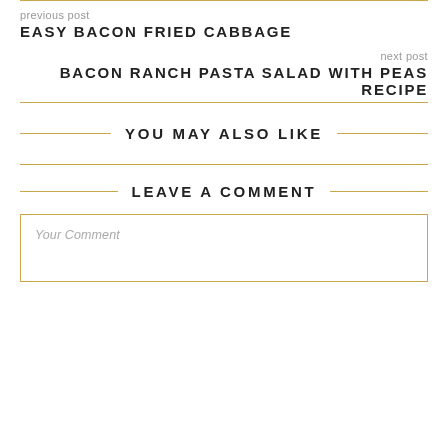previous post
EASY BACON FRIED CABBAGE
next post
BACON RANCH PASTA SALAD WITH PEAS RECIPE
YOU MAY ALSO LIKE
LEAVE A COMMENT
Your Comment